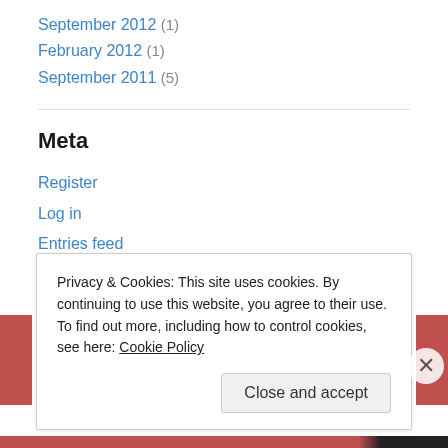September 2012 (1)
February 2012 (1)
September 2011 (5)
Meta
Register
Log in
Entries feed
Comments feed
WordPress.com
Privacy & Cookies: This site uses cookies. By continuing to use this website, you agree to their use. To find out more, including how to control cookies, see here: Cookie Policy